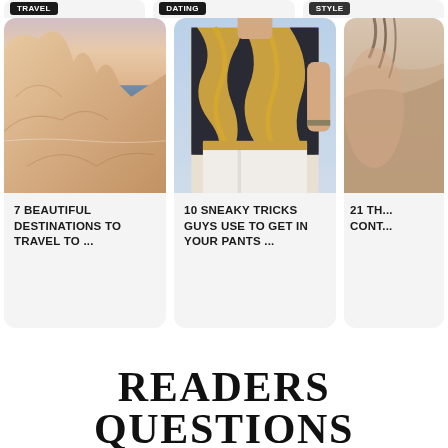[Figure (photo): Card 1: Rock cliff formations with ocean in background, warm sandy tones]
7 BEAUTIFUL DESTINATIONS TO TRAVEL TO ...
[Figure (photo): Card 2: Fashion model wearing patterned black, gold and white short-sleeve shirt with white pants]
10 SNEAKY TRICKS GUYS USE TO GET IN YOUR PANTS ...
[Figure (photo): Card 3: Partial view of a person, warm skin tones, cropped at right edge]
21 TH... CONT...
READERS QUESTIONS